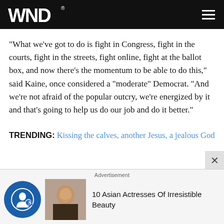WND
"What we've got to do is fight in Congress, fight in the courts, fight in the streets, fight online, fight at the ballot box, and now there's the momentum to be able to do this," said Kaine, once considered a "moderate" Democrat. "And we're not afraid of the popular outcry, we're energized by it and that's going to help us do our job and do it better."
TRENDING: Kissing the calves, another Jesus, a jealous God
Advertisement
10 Asian Actresses Of Irresistible Beauty